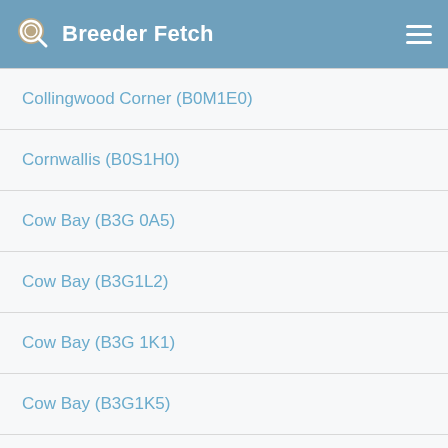Breeder Fetch
Collingwood Corner (B0M1E0)
Cornwallis (B0S1H0)
Cow Bay (B3G 0A5)
Cow Bay (B3G1L2)
Cow Bay (B3G 1K1)
Cow Bay (B3G1K5)
Coxheath (B1L1B3)